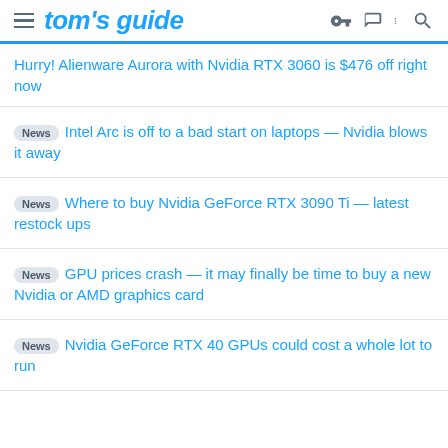tom's guide
Hurry! Alienware Aurora with Nvidia RTX 3060 is $476 off right now
News  Intel Arc is off to a bad start on laptops — Nvidia blows it away
News  Where to buy Nvidia GeForce RTX 3090 Ti — latest restock ups
News  GPU prices crash — it may finally be time to buy a new Nvidia or AMD graphics card
News  Nvidia GeForce RTX 40 GPUs could cost a whole lot to run